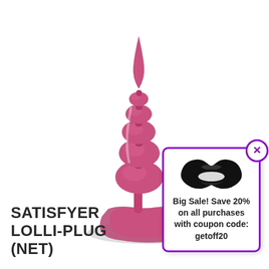[Figure (photo): Pink beaded anal plug product (Satisfyer Lolli-Plug) on white background, with curved base, multiple graduated beaded sections tapering to a point at top.]
SATISFYER LOLLI-PLUG (NET)
[Figure (infographic): Popup overlay with purple border showing black lipstick mark icon above promotional text: Big Sale! Save 20% on all purchases with coupon code: getoff20. Has an X close button in top-right corner.]